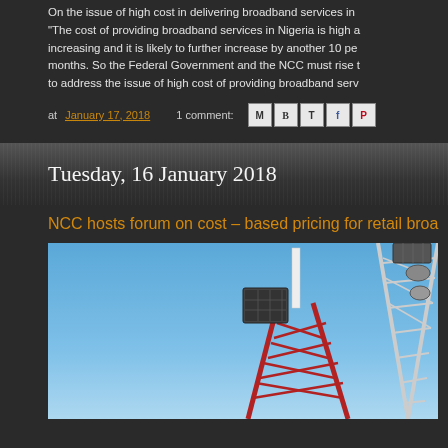On the issue of high cost in delivering broadband services in Nigeria, "The cost of providing broadband services in Nigeria is high a... increasing and it is likely to further increase by another 10 per... months. So the Federal Government and the NCC must rise t... to address the issue of high cost of providing broadband serv...
at January 17, 2018   1 comment:
Tuesday, 16 January 2018
NCC hosts forum on cost – based pricing for retail broa...
[Figure (photo): Telecommunications tower against a blue sky, with red and white metal lattice structure and satellite dishes/antenna arrays mounted at the top.]